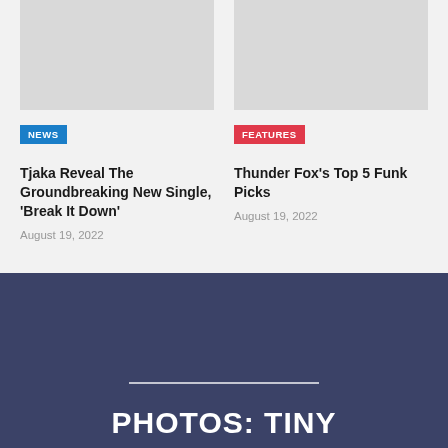[Figure (photo): Placeholder thumbnail image, light gray rectangle]
[Figure (photo): Placeholder thumbnail image, light gray rectangle]
NEWS
Tjaka Reveal The Groundbreaking New Single, ‘Break It Down’
August 19, 2022
FEATURES
Thunder Fox’s Top 5 Funk Picks
August 19, 2022
PHOTOS: TINY